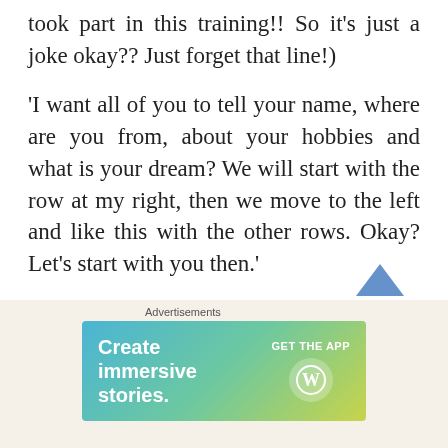took part in this training!! So it's just a joke okay?? Just forget that line!)
'I want all of you to tell your name, where are you from, about your hobbies and what is your dream? We will start with the row at my right, then we move to the left and like this with the other rows. Okay? Let's start with you then.'
'... I like listening music, shopping.. my dream.. I just want to be with my family
[Figure (other): Advertisement banner: 'Create immersive stories. GET THE APP' with WordPress logo, gradient background from teal to yellow-green]